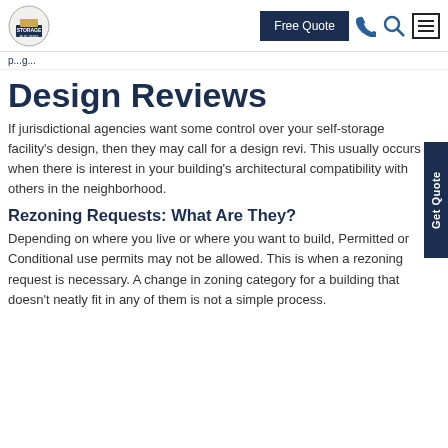Storage Building Central — Free Quote navigation
p...g...
Design Reviews
If jurisdictional agencies want some control over your self-storage facility's design, then they may call for a design review. This usually occurs when there is interest in your building's architectural compatibility with others in the neighborhood.
Rezoning Requests: What Are They?
Depending on where you live or where you want to build, Permitted or Conditional use permits may not be allowed. This is when a rezoning request is necessary. A change in zoning category for a building that doesn't neatly fit in any of them is not a simple process.